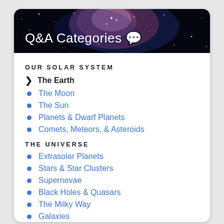Q&A Categories 💬
OUR SOLAR SYSTEM
The Earth
The Moon
The Sun
Planets & Dwarf Planets
Comets, Meteors, & Asteroids
THE UNIVERSE
Extrasolar Planets
Stars & Star Clusters
Supernovae
Black Holes & Quasars
The Milky Way
Galaxies